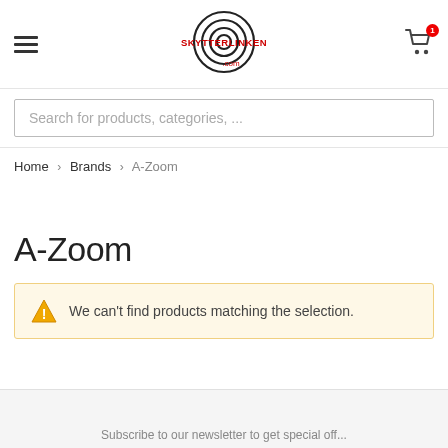Skytterlinken.com — hamburger menu, logo, cart icon
Search for products, categories, ...
Home > Brands > A-Zoom
A-Zoom
We can't find products matching the selection.
Subscribe to our newsletter to get special off...